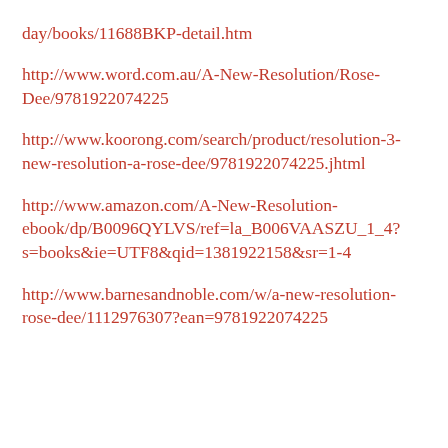day/books/11688BKP-detail.htm
http://www.word.com.au/A-New-Resolution/Rose-Dee/9781922074225
http://www.koorong.com/search/product/resolution-3-new-resolution-a-rose-dee/9781922074225.jhtml
http://www.amazon.com/A-New-Resolution-ebook/dp/B0096QYLVS/ref=la_B006VAASZU_1_4?s=books&ie=UTF8&qid=1381922158&sr=1-4
http://www.barnesandnoble.com/w/a-new-resolution-rose-dee/1112976307?ean=9781922074225